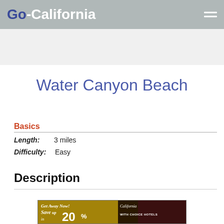Go-California
Water Canyon Beach
Basics
Length: 3 miles
Difficulty: Easy
Description
[Figure (other): Advertisement banner: Get Away Now! Save up to 20% California with Choice Hotels]